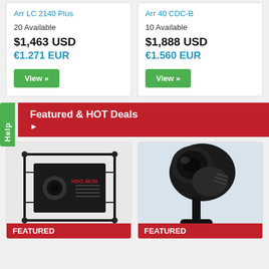Arr LC 2140 Plus
20 Available
$1,463 USD
€1.271 EUR
View »
Arr 40 CDC-B
10 Available
$1,888 USD
€1.560 EUR
View »
Featured & HOT Deals
[Figure (photo): Black professional projector in a cage/truss mount, labeled HDO 4K35, with FEATURED label at bottom]
[Figure (photo): Black moving head stage light fixture, close-up angled view, with FEATURED label at bottom]